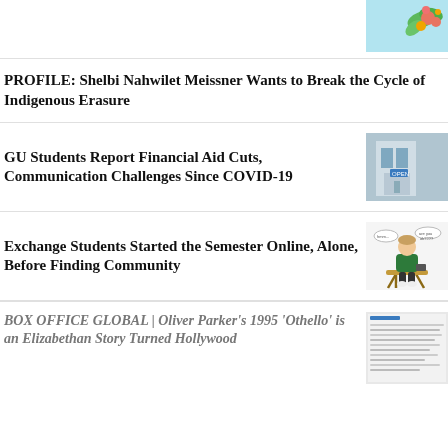PROFILE: Shelbi Nahwilet Meissner Wants to Break the Cycle of Indigenous Erasure
[Figure (illustration): Partial colorful floral/nature illustration on light blue background, top right corner]
GU Students Report Financial Aid Cuts, Communication Challenges Since COVID-19
[Figure (photo): Photo of a door or building entrance with an OPEN sign, blue-grey tones]
Exchange Students Started the Semester Online, Alone, Before Finding Community
[Figure (illustration): Cartoon illustration of a student sitting alone on a stool, looking at a device, with speech bubbles]
BOX OFFICE GLOBAL | Oliver Parker's 1995 'Othello' is an Elizabethan Story Turned Hollywood
[Figure (screenshot): Partial screenshot of an article with small text about a romantic thriller]